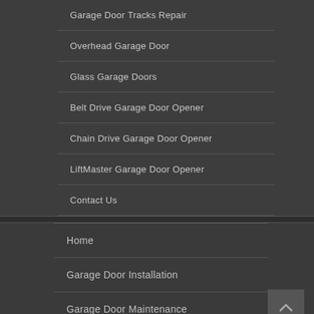Garage Door Tracks Repair
Overhead Garage Door
Glass Garage Doors
Belt Drive Garage Door Opener
Chain Drive Garage Door Opener
LiftMaster Garage Door Opener
Contact Us
Home
Garage Door Installation
Garage Door Maintenance